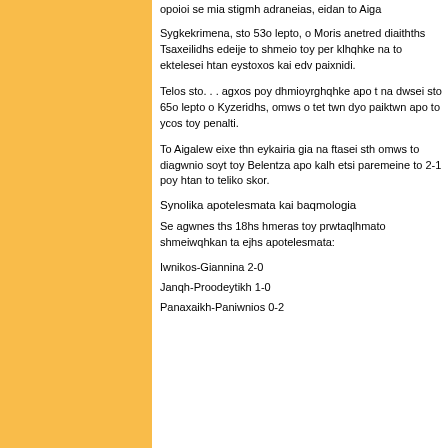opoioi se mia stigmh adraneias, eidan to Aiga...
Sygkekrimena, sto 53o lepto, o Moris anetred... diaithths Tsaxeilidhs edeije to shmeio toy pen... klhqhke na to ektelesei htan eystoxos kai edv... paixnidi.
Telos sto. . . agxos poy dhmioyrghqhke apo t... na dwsei sto 65o lepto o Kyzeridhs, omws o ... tet twn dyo paiktwn apo to ycos toy penalti.
To Aigalew eixe thn eykairia gia na ftasei sth... omws to diagwnio soyt toy Belentza apo kalh... etsi paremeine to 2-1 poy htan to teliko skor.
Synolika apotelesmata kai baqmologia
Se agwnes ths 18hs hmeras toy prwtaqlhmato... shmeiwqhkan ta ejhs apotelesmata:
Iwnikos-Giannina 2-0
Janqh-Proodeytikh 1-0
Panaxaikh-Paniwnios 0-2